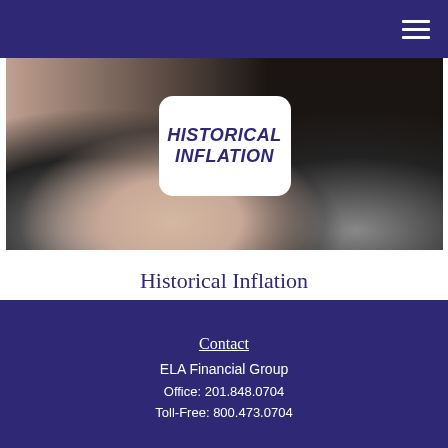[Figure (photo): Hero image of a vintage pink car, low angle view showing the wheel and fender, with a white rounded badge overlay showing 'HISTORICAL INFLATION' in bold italic purple text]
Historical Inflation
This calculator shows how inflation over the years has impacted purchasing power.
Contact
ELA Financial Group
Office: 201.848.0704
Toll-Free: 800.473.0704